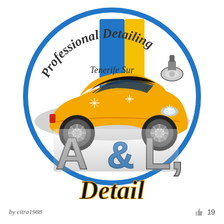[Figure (logo): Circular logo for A&L Detail, a professional car detailing business in Tenerife Sur. Features a yellow sports car (Aston Martin style), polishing machine, blue and yellow banner, and stylized text reading 'Professional Detailing', 'Tenerife Sur', 'A&L', and 'Detail' in script and block letters. Outer ring is blue.]
by citra1988
19